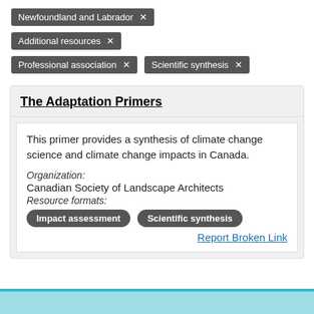Newfoundland and Labrador ✕
Additional resources ✕
Professional association ✕    Scientific synthesis ✕
The Adaptation Primers
This primer provides a synthesis of climate change science and climate change impacts in Canada.
Organization:
Canadian Society of Landscape Architects
Resource formats:
Impact assessment   Scientific synthesis
Report Broken Link